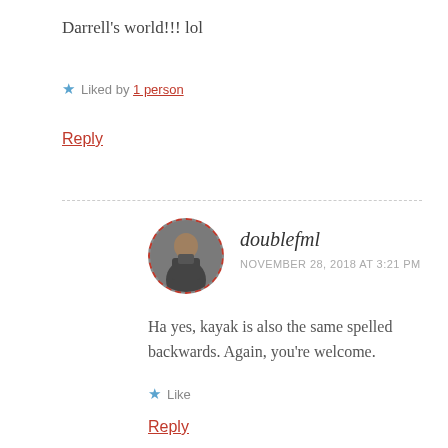Darrell's world!!! lol
★ Liked by 1 person
Reply
[Figure (photo): Circular avatar photo of a person in a suit, bordered with a red dashed circle]
doublefml
NOVEMBER 28, 2018 AT 3:21 PM
Ha yes, kayak is also the same spelled backwards. Again, you're welcome.
★ Like
Reply